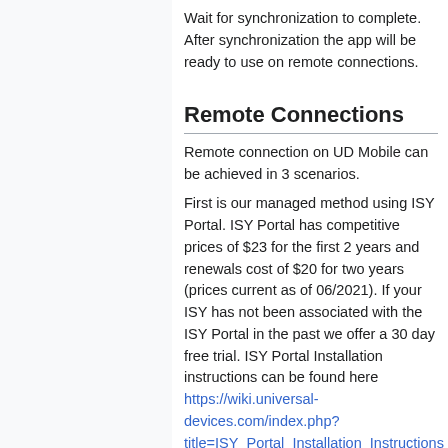Wait for synchronization to complete. After synchronization the app will be ready to use on remote connections.
Remote Connections
Remote connection on UD Mobile can be achieved in 3 scenarios.
First is our managed method using ISY Portal. ISY Portal has competitive prices of $23 for the first 2 years and renewals cost of $20 for two years (prices current as of 06/2021). If your ISY has not been associated with the ISY Portal in the past we offer a 30 day free trial. ISY Portal Installation instructions can be found here https://wiki.universal-devices.com/index.php?title=ISY_Portal_Installation_Instructions